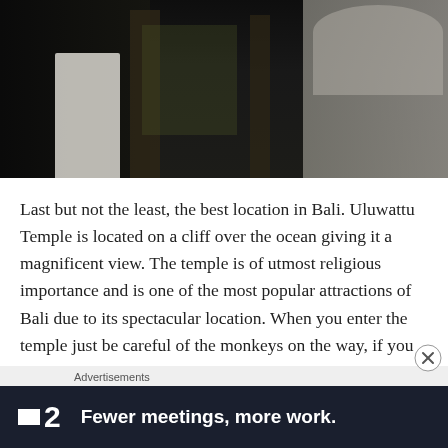[Figure (photo): Dark interior photo, possibly inside a temple or wooden structure. A figure in white is visible on the left, and a person in a white patterned shirt is visible on the right.]
Last but not the least, the best location in Bali. Uluwattu Temple is located on a cliff over the ocean giving it a magnificent view. The temple is of utmost religious importance and is one of the most popular attractions of Bali due to its spectacular location. When you enter the temple just be careful of the monkeys on the way, if you are carrying any food items.
Advertisements
[Figure (screenshot): Advertisement banner for F2 app. Dark navy background with white F2 logo (square icon + '2') and bold white text: 'Fewer meetings, more work.']